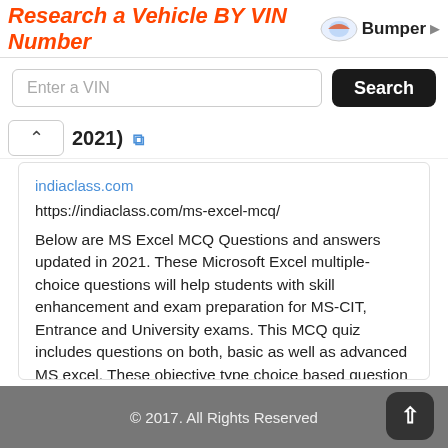[Figure (screenshot): Ad banner: 'Research a Vehicle BY VIN Number' with Bumper logo]
[Figure (screenshot): VIN search input field with Search button]
2021)
indiaclass.com
https://indiaclass.com/ms-excel-mcq/
Below are MS Excel MCQ Questions and answers updated in 2021. These Microsoft Excel multiple-choice questions will help students with skill enhancement and exam preparation for MS-CIT, Entrance and University exams. This MCQ quiz includes questions on both, basic as well as advanced MS excel. These objective type choice based question sets can ...
DA: 74 PA: 52 MOZ Rank: 91
© 2017. All Rights Reserved